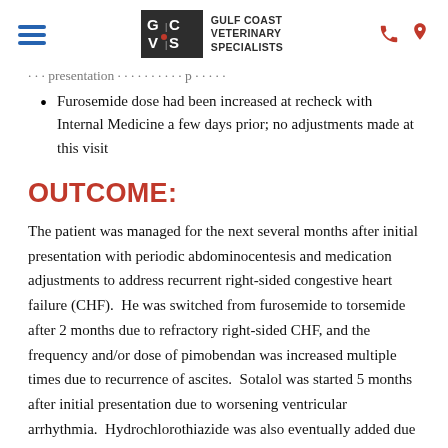Gulf Coast Veterinary Specialists
Furosemide dose had been increased at recheck with Internal Medicine a few days prior; no adjustments made at this visit
OUTCOME:
The patient was managed for the next several months after initial presentation with periodic abdominocentesis and medication adjustments to address recurrent right-sided congestive heart failure (CHF). He was switched from furosemide to torsemide after 2 months due to refractory right-sided CHF, and the frequency and/or dose of pimobendan was increased multiple times due to recurrence of ascites. Sotalol was started 5 months after initial presentation due to worsening ventricular arrhythmia. Hydrochlorothiazide was also eventually added due to the continued frequent development of ascites. Additionally, the patient was eventually diagnosed with